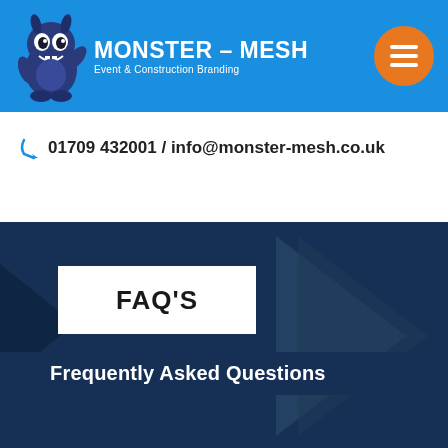MONSTER-MESH Event & Construction Branding
01709 432001 / info@monster-mesh.co.uk
FAQ'S
Frequently Asked Questions